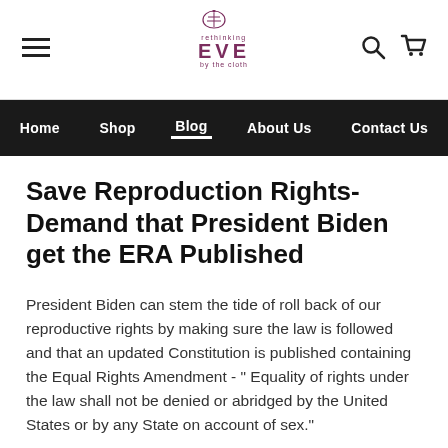EVE - Rethinking Eve - Blog
Home  Shop  Blog  About Us  Contact Us
Save Reproduction Rights- Demand that President Biden get the ERA Published
President Biden can stem the tide of roll back of our reproductive rights by making sure the law is followed and that an updated Constitution is published containing the Equal Rights Amendment -  " Equality of rights under the law shall not be denied or abridged by the United States or by any State on account of sex."